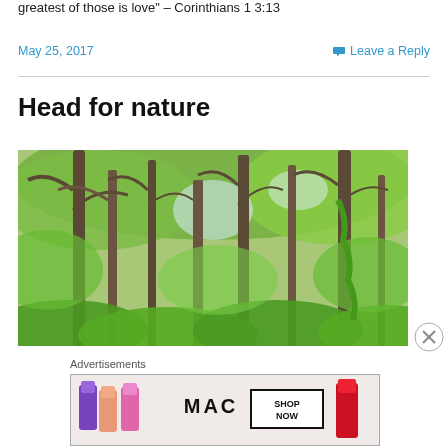greatest of those is love" – Corinthians 1 3:13
May 25, 2017
Leave a Reply
Head for nature
[Figure (photo): A lush green forest scene with tall trees, leafy canopy and dense undergrowth, viewed from ground level looking upward]
Advertisements
[Figure (photo): MAC cosmetics advertisement showing lipsticks in purple, pink, and red colors with 'SHOP NOW' call to action]